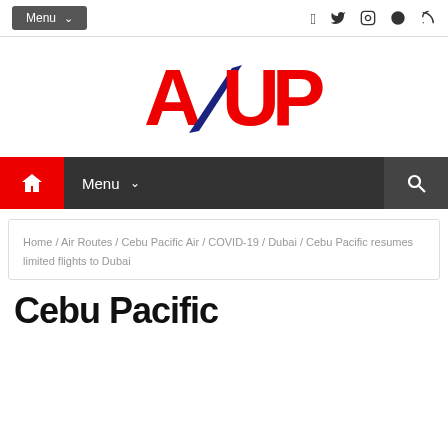Menu | social icons (Facebook, Twitter, Instagram, RSS)
[Figure (logo): AUP logo in red and dark blue text]
Home (house icon) | Menu ∨ | Search (magnifier icon)
Home / Air Routes / Cebu Pacific Air / COVID-19 / Dubai / Cebu Pacific resumes limited flights to Dubai
Cebu Pacific